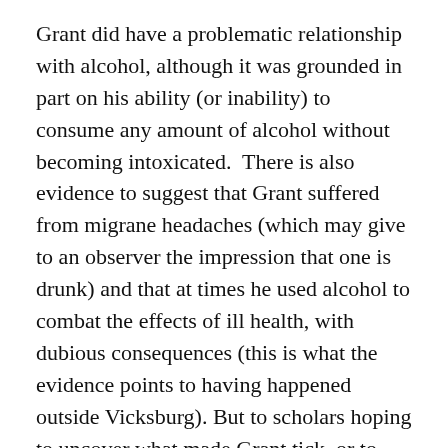Grant did have a problematic relationship with alcohol, although it was grounded in part on his ability (or inability) to consume any amount of alcohol without becoming intoxicated.  There is also evidence to suggest that Grant suffered from migrane headaches (which may give to an observer the impression that one is drunk) and that at times he used alcohol to combat the effects of ill health, with dubious consequences (this is what the evidence points to having happened outside Vicksburg). But to scholars hoping to uncover what made Grant tick, or to those interested in issues of personal emotional and psychological makeup, an understanding of Grant's “relationship” with alcohol could be revealing indeed. Moreover, Grant’s reputation as a drunkard (and, let’s make it clear, it’s not whether he drank at all but how what he drank affected him … he could not always hold his liquor, so to speak) played a large role in shaping the